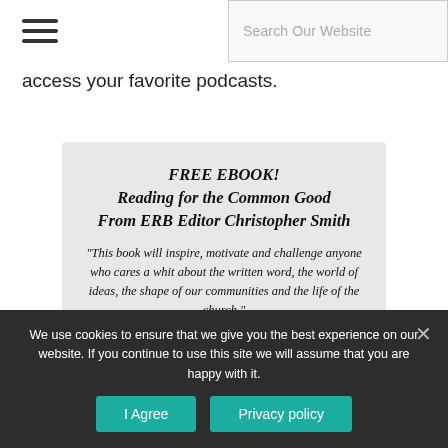[hamburger menu] Search Our Website
access your favorite podcasts.
FREE EBOOK!
Reading for the Common Good
From ERB Editor Christopher Smith

"This book will inspire, motivate and challenge anyone who cares a whit about the written word, the world of ideas, the shape of our communities and the life of the church."
-Karen Swallow Prior
We use cookies to ensure that we give you the best experience on our website. If you continue to use this site we will assume that you are happy with it.